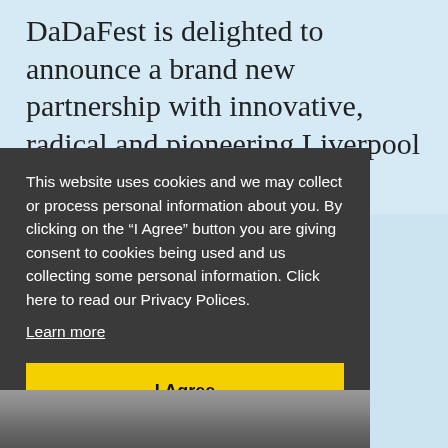DaDaFest is delighted to announce a brand new partnership with innovative, radical and pioneering Liverpool arts venue, Unity Theatre.
This website uses cookies and we may collect or process personal information about you. By clicking on the “I Agree” button you are giving consent to cookies being used and us collecting some personal information. Click here to read our Privacy Polices.
Learn more
I Agree
[Figure (photo): Partial photo strip at bottom showing people, partially cropped]